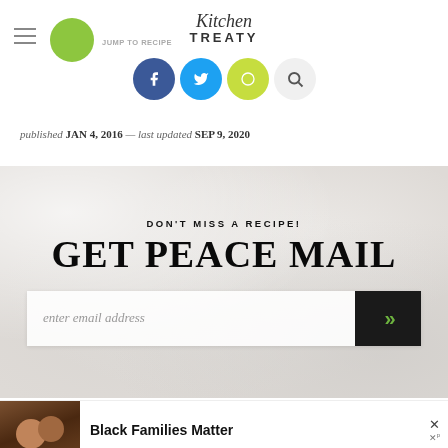Kitchen Treaty — navigation header with social icons
published JAN 4, 2016 — last updated SEP 9, 2020
[Figure (infographic): Newsletter signup banner with marble background. Header: DON'T MISS A RECIPE! Large text: GET PEACE MAIL. Email input field with submit button with chevron arrows.]
LIKE THIS? HERE'S MORE: PANTRY RECIPES
[Figure (photo): Advertisement banner: image of Black family smiling, text says Black Families Matter with close buttons]